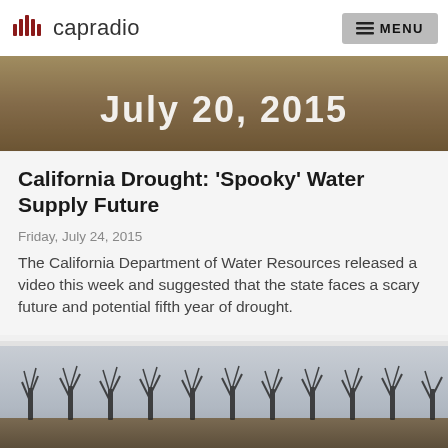capradio  MENU
[Figure (photo): Aerial/landscape image with text overlay reading 'July 20, 2015' in white lettering]
California Drought: ‘Spooky’ Water Supply Future
Friday, July 24, 2015
The California Department of Water Resources released a video this week and suggested that the state faces a scary future and potential fifth year of drought.
[Figure (photo): Photo of bare, leafless orchard trees against a pale grey sky, rows of dead or dormant trees in a drought-stricken agricultural field]